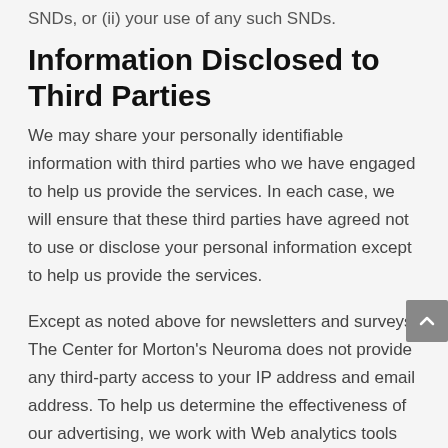SNDs, or (ii) your use of any such SNDs.
Information Disclosed to Third Parties
We may share your personally identifiable information with third parties who we have engaged to help us provide the services. In each case, we will ensure that these third parties have agreed not to use or disclose your personal information except to help us provide the services.
Except as noted above for newsletters and surveys, The Center for Morton’s Neuroma does not provide any third-party access to your IP address and email address. To help us determine the effectiveness of our advertising, we work with Web analytics tools hosted by third parties who receive nonidentifiable information from your browser, including but not limited to the site